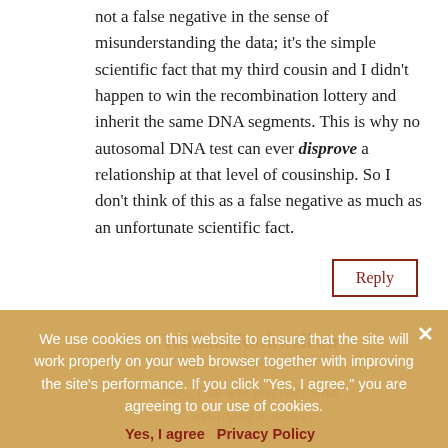not a false negative in the sense of misunderstanding the data; it's the simple scientific fact that my third cousin and I didn't happen to win the recombination lottery and inherit the same DNA segments. This is why no autosomal DNA test can ever disprove a relationship at that level of cousinship. So I don't think of this as a false negative as much as an unfortunate scientific fact.
Reply
William Rothwell on October 8, 2014 at 5:35 pm
Judy, That was precisely what I was trying to convey. Somehow I did not do a good job of stating things or you misread my
We use cookies on this website to ensure that the site will work properly on your web browser together with improving the site's performance. If you click "Yes, I agree," you are agreeing to our use of cookies.
Yes, I agree   Privacy Policy